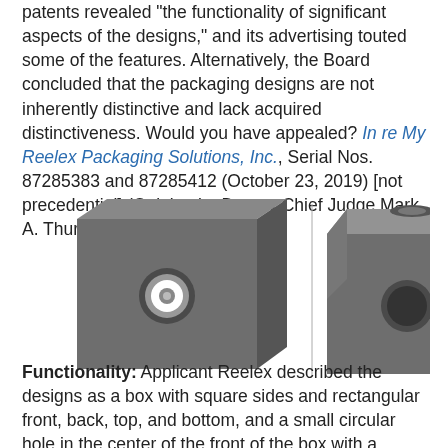patents revealed "the functionality of significant aspects of the designs," and its advertising touted some of the features. Alternatively, the Board concluded that the packaging designs are not inherently distinctive and lack acquired distinctiveness. Would you have appealed? In re My Reelex Packaging Solutions, Inc., Serial Nos. 87285383 and 87285412 (October 23, 2019) [not precedential] (Opinion by Deputy Chief Judge Mark A. Thurmon).
[Figure (photo): Two views of a gray cardboard box with square sides. The left view shows the front face with a small circular hole in the center containing a white payout tube and collar. The right view shows the box from a different angle with an open top flap and a larger circular opening visible on the side.]
Functionality: Applicant Reelex described the designs as a box with square sides and rectangular front, back, top, and bottom, and a small circular hole in the center of the front of the box with a payout tube and collar positioned with the hole. Reelex touted itself a leader in the figure-8 winding